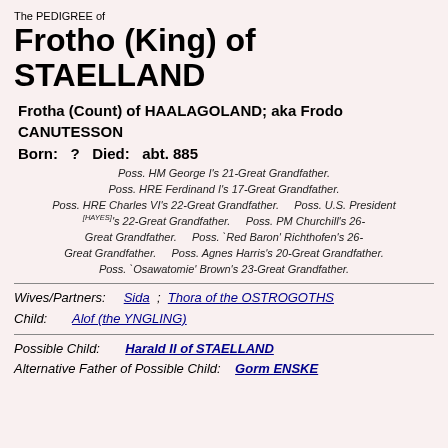The PEDIGREE of
Frotho (King) of STAELLAND
Frotha (Count) of HAALAGOLAND; aka Frodo CANUTESSON
Born:  ?   Died:  abt. 885
Poss. HM George I's 21-Great Grandfather. Poss. HRE Ferdinand I's 17-Great Grandfather. Poss. HRE Charles VI's 22-Great Grandfather.  Poss. U.S. President [HAYES]'s 22-Great Grandfather.  Poss. PM Churchill's 26-Great Grandfather.  Poss. `Red Baron' Richthofen's 26-Great Grandfather.  Poss. Agnes Harris's 20-Great Grandfather.  Poss. `Osawatomie' Brown's 23-Great Grandfather.
Wives/Partners: Sida ; Thora of the OSTROGOTHS
Child: Alof (the YNGLING)
Possible Child: Harald II of STAELLAND
Alternative Father of Possible Child: Gorm ENSKE